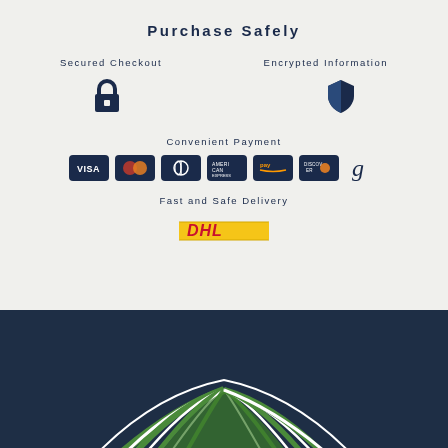Purchase Safely
Secured Checkout
Encrypted Information
[Figure (illustration): Lock icon representing secured checkout]
[Figure (illustration): Shield icon representing encrypted information]
Convenient Payment
[Figure (illustration): Payment method icons: Visa, Mastercard, Diners Club, American Express, Amazon Pay, Discover, Goodreads/other]
Fast and Safe Delivery
[Figure (logo): DHL delivery logo]
[Figure (illustration): Dark navy background section with green and white leaf/feather decorative graphic at bottom]